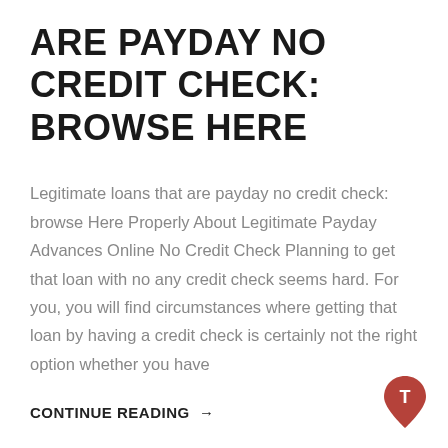ARE PAYDAY NO CREDIT CHECK: BROWSE HERE
Legitimate loans that are payday no credit check: browse Here Properly About Legitimate Payday Advances Online No Credit Check Planning to get that loan with no any credit check seems hard. For you, you will find circumstances where getting that loan by having a credit check is certainly not the right option whether you have
CONTINUE READING →